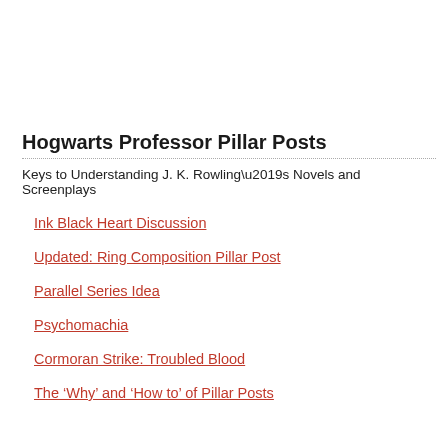Hogwarts Professor Pillar Posts
Keys to Understanding J. K. Rowling’s Novels and Screenplays
Ink Black Heart Discussion
Updated: Ring Composition Pillar Post
Parallel Series Idea
Psychomachia
Cormoran Strike: Troubled Blood
The ‘Why’ and ‘How to’ of Pillar Posts